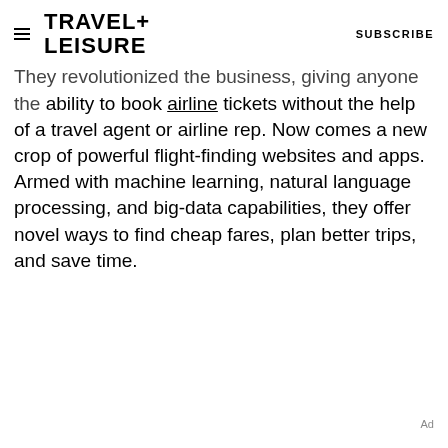TRAVEL+ LEISURE  SUBSCRIBE
They revolutionized the business, giving anyone the ability to book airline tickets without the help of a travel agent or airline rep. Now comes a new crop of powerful flight-finding websites and apps. Armed with machine learning, natural language processing, and big-data capabilities, they offer novel ways to find cheap fares, plan better trips, and save time.
Ad